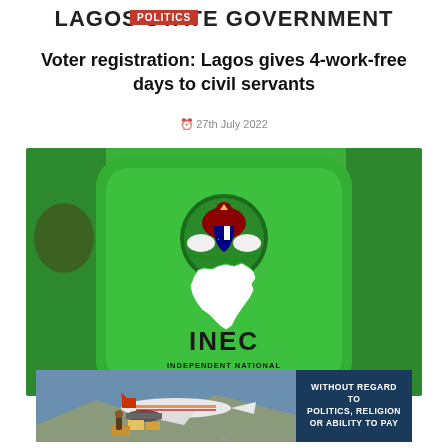LAGOS STATE GOVERNMENT
POLITICS
Voter registration: Lagos gives 4-work-free days to civil servants
27th July 2022
[Figure (photo): INEC (Independent National Electoral Commission) logo on a green device/tablet showing the Nigerian coat of arms and a white map of Nigeria with 'INEC' and 'INDEPENDENT NATIONAL ELECTORAL COMMISSION' text]
[Figure (photo): Advertisement banner showing an airplane being loaded with cargo, with text overlay 'WITHOUT REGARD TO POLITICS, RELIGION OR ABILITY TO PAY']